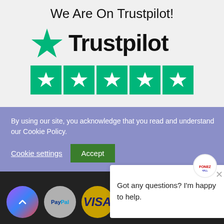We Are On Trustpilot!
[Figure (logo): Trustpilot logo with green star and bold Trustpilot wordmark, followed by a row of five green star rating boxes]
By using our site, you acknowledge that you read and understand our Cookie Policy.
Cookie settings
Accept
[Figure (screenshot): Chat widget popup with close X button, Fonez4All logo circle, and text 'Got any questions? I'm happy to help.']
© 2022 Fonez4All. All rights reserved.
[Figure (infographic): Payment method icons row: back-to-top button, PayPal, Visa, American Express, Western Union, chat button]